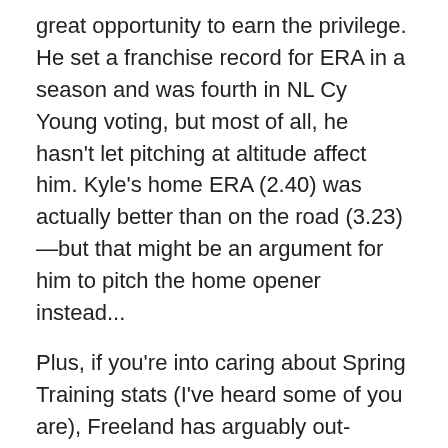great opportunity to earn the privilege. He set a franchise record for ERA in a season and was fourth in NL Cy Young voting, but most of all, he hasn't let pitching at altitude affect him. Kyle's home ERA (2.40) was actually better than on the road (3.23)—but that might be an argument for him to pitch the home opener instead...
Plus, if you're into caring about Spring Training stats (I've heard some of you are), Freeland has arguably out-performed Marquez this spring. Kyle has an ERA of 3.95 in 13.2 IP, and has only walked three batters while striking out 16. After a tough outing against the Angels last night, Marquez has an 8.03 ERA in 12.1 IP, has walked six and struck out 15. Then again, it might not mean anything, and both pitchers would deserve the honor of being no. 1.